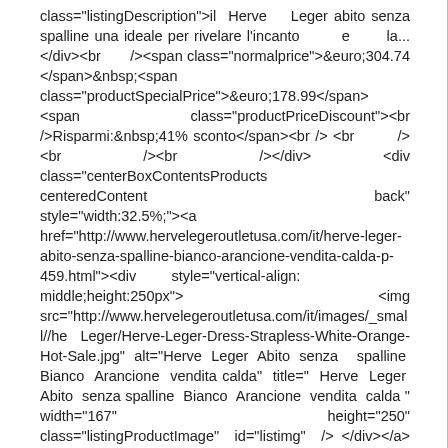class="listingDescription">il Herve Leger abito senza spalline una ideale per rivelare l'incanto e la...</div><br /><span class="normalprice">&euro;304.74 </span>&nbsp;<span class="productSpecialPrice">&euro;178.99</span> <span class="productPriceDiscount"><br />Risparmi:&nbsp;41% sconto</span><br /> <br /><br /><br /></div> <div class="centerBoxContentsProducts centeredContent back" style="width:32.5%;"><a href="http://www.hervelegeroutletusa.com/it/herve-leger-abito-senza-spalline-bianco-arancione-vendita-calda-p-459.html"><div style="vertical-align: middle;height:250px"> <img src="http://www.hervelegeroutletusa.com/it/images/_small//heLeger/Herve-Leger-Dress-Strapless-White-Orange-Hot-Sale.jpg" alt="Herve Leger Abito senza spalline Bianco Arancione vendita calda" title=" Herve Leger Abito senza spalline Bianco Arancione vendita calda " width="167" height="250" class="listingProductImage" id="listimg" /> </div></a><br /><h3 class="itemTitle"><a href="http://www.hervelegeroutletusa.com/it/herve-leger-abito-senza-spalline-bianco-arancione-vendita-calda-p-459.html">Herve Leger Abito senza spalline Bianco Arancione vendita